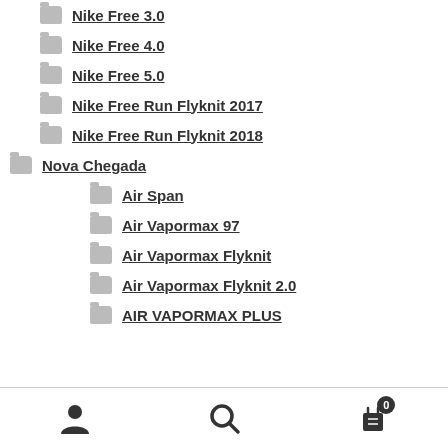Nike Free 3.0
Nike Free 4.0
Nike Free 5.0
Nike Free Run Flyknit 2017
Nike Free Run Flyknit 2018
Nova Chegada
Air Span
Air Vapormax 97
Air Vapormax Flyknit
Air Vapormax Flyknit 2.0
AIR VAPORMAX PLUS
User | Search | Cart (0)